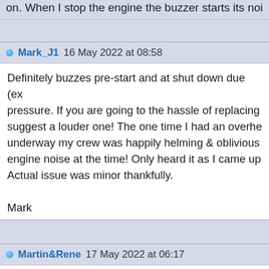on. When I stop the engine the buzzer starts its noi...
Mark_J1 16 May 2022 at 08:58
Definitely buzzes pre-start and at shut down due (ex... pressure. If you are going to the hassle of replacing... suggest a louder one! The one time I had an overhe... underway my crew was happily helming & oblivious... engine noise at the time! Only heard it as I came up... Actual issue was minor thankfully.

Mark
Martin&Rene 17 May 2022 at 06:17
It is advised to take out the water sensor on a regula... put it in a glass of water. This should cause the ligh... on our yacht the buzzer will sound.